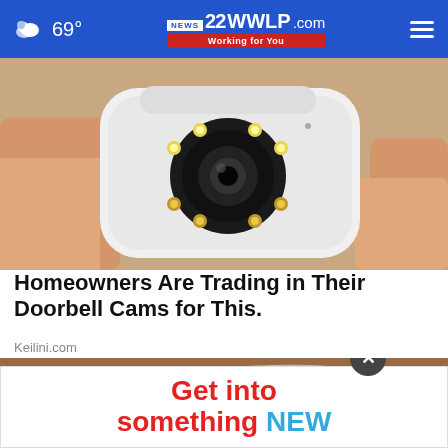69° | 22WWLP.com News Working for You
[Figure (photo): Close-up of a hand holding a small white security camera with multiple LED lights around a central lens]
Homeowners Are Trading in Their Doorbell Cams for This.
Keilini.com
[Figure (photo): Wooden surface with plastic/clear item, overlaid with advertisement banner reading 'Get into something NEW']